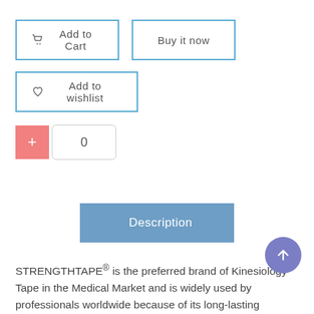[Figure (screenshot): E-commerce product page UI showing Add to Cart button, Buy it now button, Add to wishlist button, a quantity counter with plus button showing 0, a Description tab button, descriptive text about STRENGTHTAPE, and a scroll-to-top button]
STRENGTHTAPE® is the preferred brand of Kinesiology Tape in the Medical Market and is widely used by professionals worldwide because of its long-lasting durability and effectiveness on common injuries.